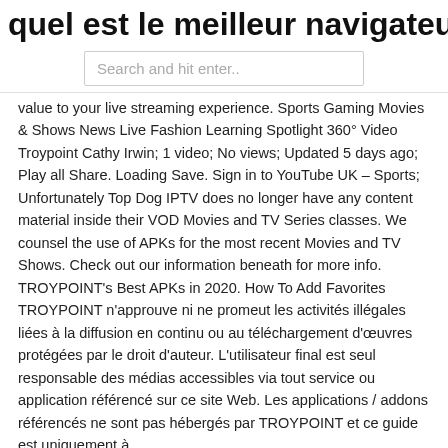quel est le meilleur navigateur privé
Search and hit enter..
value to your live streaming experience. Sports Gaming Movies & Shows News Live Fashion Learning Spotlight 360° Video Troypoint Cathy Irwin; 1 video; No views; Updated 5 days ago; Play all Share. Loading Save. Sign in to YouTube UK – Sports; Unfortunately Top Dog IPTV does no longer have any content material inside their VOD Movies and TV Series classes. We counsel the use of APKs for the most recent Movies and TV Shows. Check out our information beneath for more info. TROYPOINT's Best APKs in 2020. How To Add Favorites TROYPOINT n'approuve ni ne promeut les activités illégales liées à la diffusion en continu ou au téléchargement d'œuvres protégées par le droit d'auteur. L'utilisateur final est seul responsable des médias accessibles via tout service ou application référencé sur ce site Web. Les applications / addons référencés ne sont pas hébergés par TROYPOINT et ce guide est uniquement à
hgtv sur firestick
alternative kodi alliance